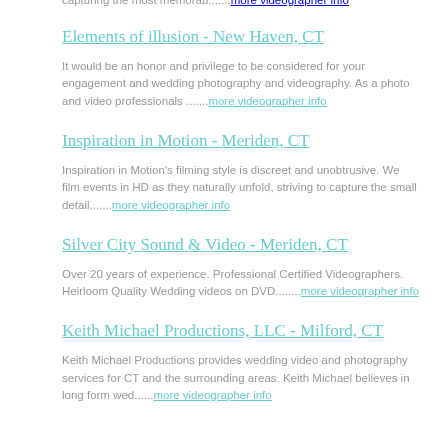capturing the most memorab.......more videographer info
Elements of illusion - New Haven, CT
It would be an honor and privilege to be considered for your engagement and wedding photography and videography. As a photo and video professionals .......more videographer info
Inspiration in Motion - Meriden, CT
Inspiration in Motion's filming style is discreet and unobtrusive. We film events in HD as they naturally unfold, striving to capture the small detail.......more videographer info
Silver City Sound & Video - Meriden, CT
Over 20 years of experience. Professional Certified Videographers. Heirloom Quality Wedding videos on DVD........more videographer info
Keith Michael Productions, LLC - Milford, CT
Keith Michael Productions provides wedding video and photography services for CT and the surrounding areas. Keith Michael believes in long form wed......more videographer info